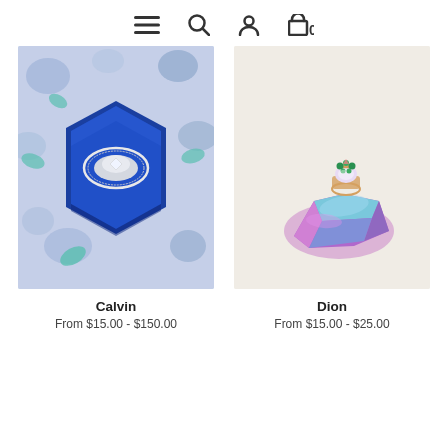Navigation icons: menu, search, account, cart (0)
[Figure (photo): A diamond ring in a blue velvet hexagonal ring box, set against a floral blue and teal background. Product name: Calvin.]
Calvin
From $15.00 - $150.00
[Figure (photo): A colorful gemstone ring with green accents displayed on a purple and teal iridescent crystal rock against a cream background. Product name: Dion.]
Dion
From $15.00 - $25.00